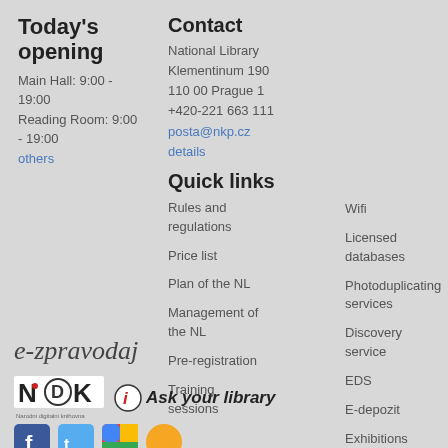Today's opening
Main Hall: 9:00 - 19:00
Reading Room: 9:00 - 19:00
others
Contact
National Library
Klementinum 190
110 00 Prague 1
+420-221 663 111
posta@nkp.cz
details
Quick links
Rules and regulations
Price list
Plan of the NL
Management of the NL
Pre-registration
Training sessions
Wifi
Licensed databases
Photoduplicating services
Discovery service
EDS
E-depozit
Exhibitions
e-zpravodaj
[Figure (logo): NDK (Narodni digitalni knihovna) logo and Ask your library logo]
[Figure (logo): Social media icons row at bottom]